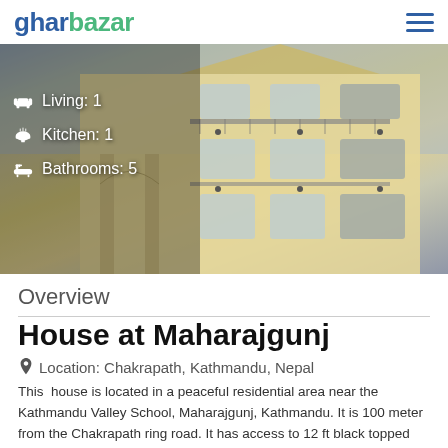gharbazar
[Figure (photo): Multi-story residential house at Maharajgunj with balconies and railings, overlaid with property info: Living: 1, Kitchen: 1, Bathrooms: 5]
Overview
House at Maharajgunj
Location: Chakrapath, Kathmandu, Nepal
This house is located in a peaceful residential area near the Kathmandu Valley School, Maharajgunj, Kathmandu. It is 100 meter from the Chakrapath ring road. It has access to 12 ft black topped road. The house is built in the area of 4 aana. It is a 3.5